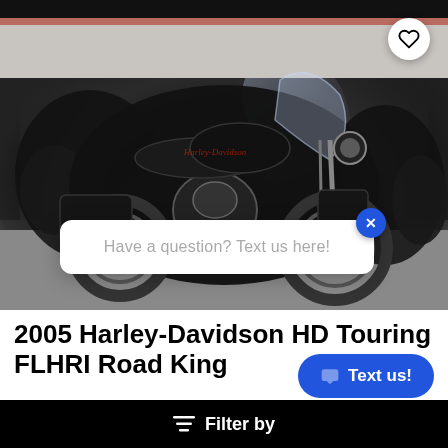[Figure (photo): Showroom photo of a black 2005 Harley-Davidson HD Touring FLHRI Road King motorcycle with multiple bikes visible in the background, taken inside a dealership.]
Have a question? Text us here!
2005 Harley-Davidson HD Touring FLHRI Road King
Filter by